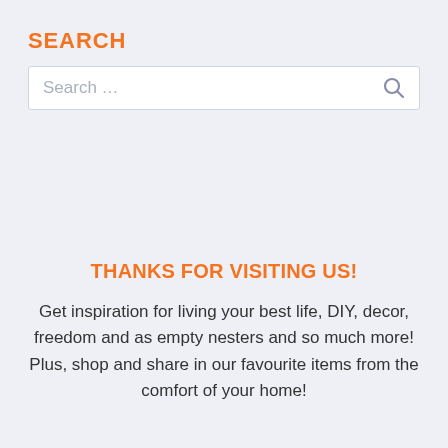SEARCH
Search ...
THANKS FOR VISITING US!
Get inspiration for living your best life, DIY, decor, freedom and as empty nesters and so much more! Plus, shop and share in our favourite items from the comfort of your home!